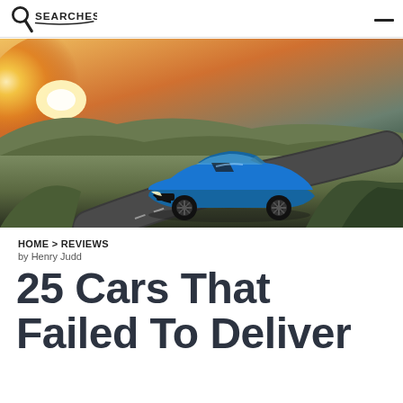SEARCHES
[Figure (photo): A blue Chevrolet Camaro sports car driving on a winding road through golden hills at sunset]
HOME > REVIEWS
by Henry Judd
25 Cars That Failed To Deliver